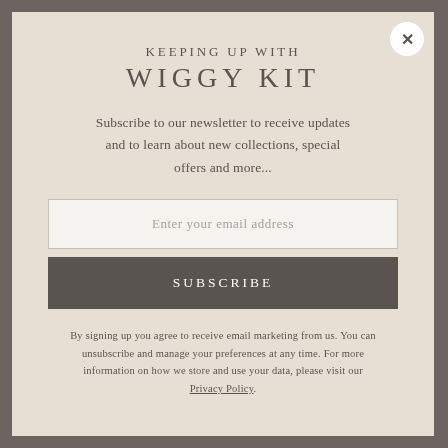KEEPING UP WITH WIGGY KIT
Subscribe to our newsletter to receive updates and to learn about new collections, special offers and more...
Enter your email address
SUBSCRIBE
By signing up you agree to receive email marketing from us. You can unsubscribe and manage your preferences at any time. For more information on how we store and use your data, please visit our Privacy Policy.